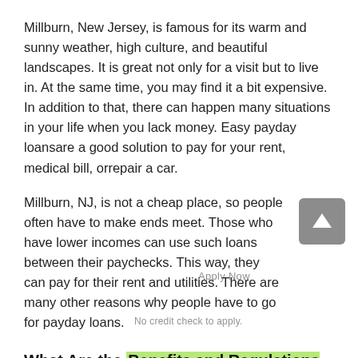Millburn, New Jersey, is famous for its warm and sunny weather, high culture, and beautiful landscapes. It is great not only for a visit but to live in. At the same time, you may find it a bit expensive. In addition to that, there can happen many situations in your life when you lack money. Easy payday loansare a good solution to pay for your rent, medical bill, orrepair a car.
Millburn, NJ, is not a cheap place, so people often have to make ends meet. Those who have lower incomes can use such loans between their paychecks. This way, they can pay for their rent and utilities. There are many other reasons why people have to go for payday loans.
What Are the Benefits and Regulations of Millburn Payday Loans in New Jersey?
Fast payday loans happen to be better than many other lenders because of the following benefits of this service: